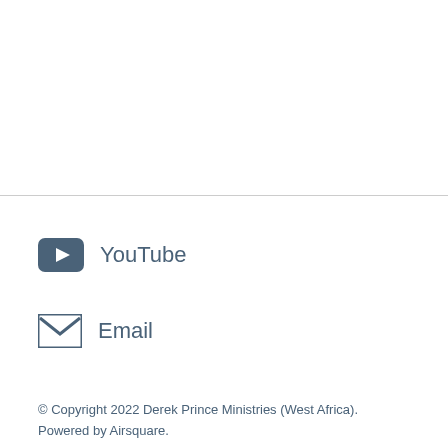YouTube
Email
© Copyright 2022 Derek Prince Ministries (West Africa). Powered by Airsquare.